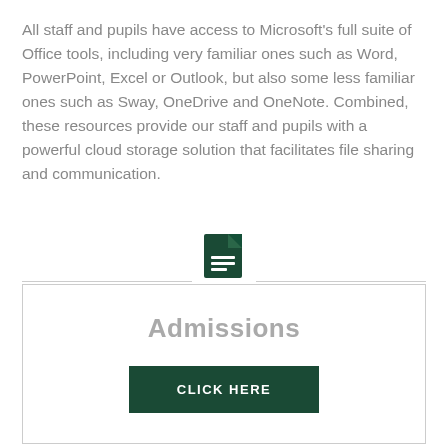All staff and pupils have access to Microsoft's full suite of Office tools, including very familiar ones such as Word, PowerPoint, Excel or Outlook, but also some less familiar ones such as Sway, OneDrive and OneNote. Combined, these resources provide our staff and pupils with a powerful cloud storage solution that facilitates file sharing and communication.
[Figure (illustration): Dark green document icon with horizontal lines, centered between two horizontal rules]
Admissions
CLICK HERE